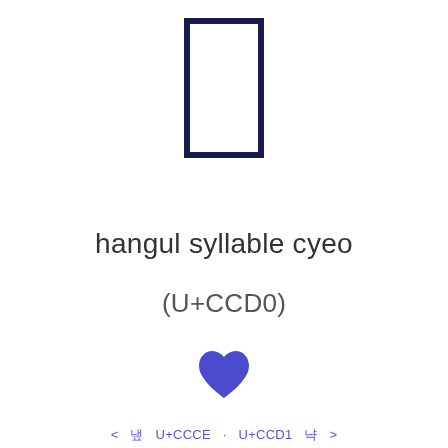[Figure (illustration): A tall narrow rectangle outline drawn with dark navy/indigo border representing the hangul syllable character glyph box]
hangul syllable cyeo
(U+CCD0)
[Figure (illustration): A blue/indigo heart icon]
< 냎 U+CCCE · U+CCD1 냑 >